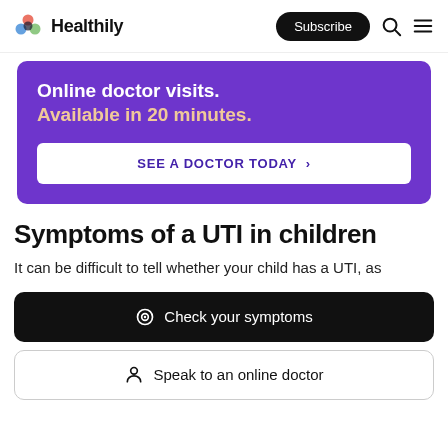Healthily — Subscribe
[Figure (infographic): Purple banner advertisement: 'Online doctor visits. Available in 20 minutes.' with a 'SEE A DOCTOR TODAY >' button]
Symptoms of a UTI in children
It can be difficult to tell whether your child has a UTI, as
Check your symptoms
Speak to an online doctor